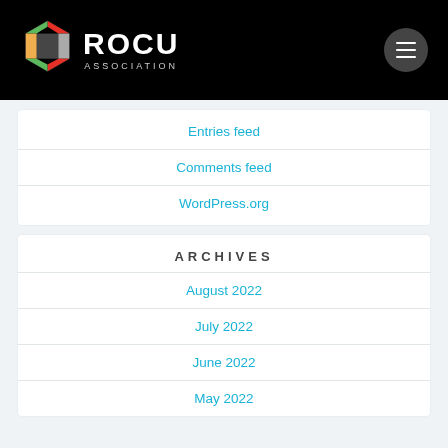ROCU ASSOCIATION
Entries feed
Comments feed
WordPress.org
ARCHIVES
August 2022
July 2022
June 2022
May 2022